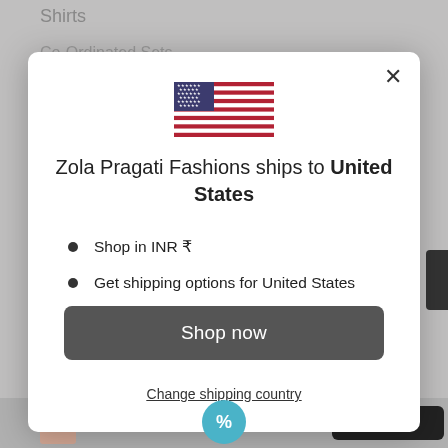Shirts
Co-Ordinated Sets
[Figure (screenshot): US flag icon displayed in modal dialog]
Zola Pragati Fashions ships to United States
Shop in INR ₹
Get shipping options for United States
Shop now
Change shipping country